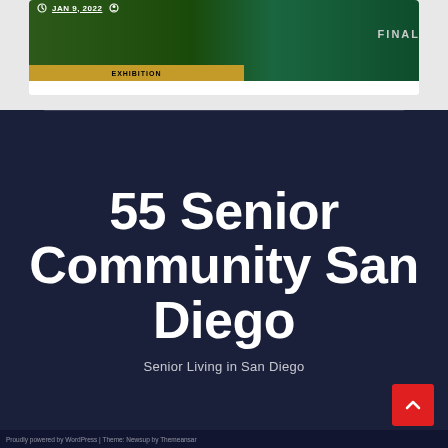[Figure (screenshot): Card showing a sports/gaming screenshot with dark green background, date JAN 9, 2022, FINAL label, EXHIBITION bar, and player imagery]
55 Senior Community San Diego
Senior Living in San Diego
Proudly powered by WordPress | Theme: Newsup by Themeansar